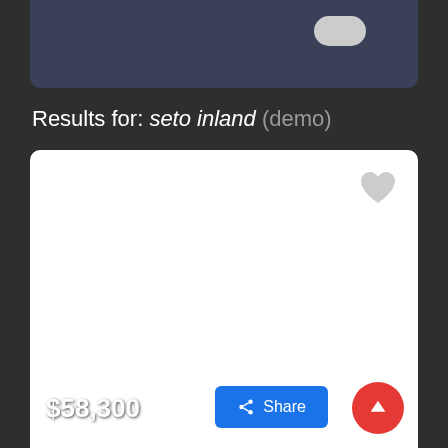[Figure (screenshot): Top portion of a dark mobile app UI showing a partially visible image card with a toggle button in the upper right.]
Results for: seto inland (demo)
[Figure (screenshot): A white listing card with a heart/favorite icon in the top right corner, a price label of $58,300 in the bottom left, a blue Share button and a red FAB (floating action button) with an up-arrow in the bottom right.]